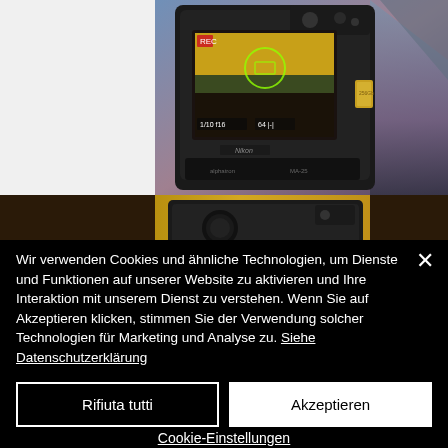[Figure (photo): Nikon DSLR camera showing LCD screen with landscape photo, mounted on tripod bracket, with yellow field and mountain background. Second camera visible in lower portion of image.]
Wir verwenden Cookies und ähnliche Technologien, um Dienste und Funktionen auf unserer Website zu aktivieren und Ihre Interaktion mit unserem Dienst zu verstehen. Wenn Sie auf Akzeptieren klicken, stimmen Sie der Verwendung solcher Technologien für Marketing und Analyse zu. Siehe Datenschutzerklärung
Rifiuta tutti
Akzeptieren
Cookie-Einstellungen